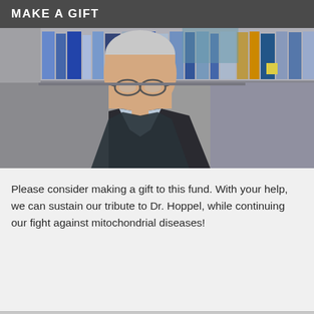MAKE A GIFT
[Figure (photo): Elderly man with grey hair and glasses, wearing a dark blazer and light blue shirt, sitting in front of bookshelves filled with binders and books in an office or laboratory setting.]
Please consider making a gift to this fund. With your help, we can sustain our tribute to Dr. Hoppel, while continuing our fight against mitochondrial diseases!